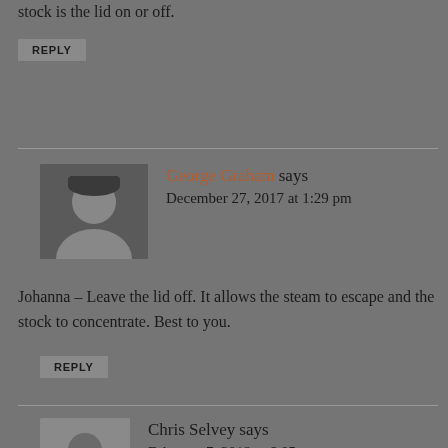stock is the lid on or off.
REPLY
George Graham says
December 27, 2017 at 1:29 pm
Johanna – Leave the lid off. It allows the steam to escape and the stock to concentrate. Best to you.
REPLY
Chris Selvey says
February 7, 2019 at 6:05 pm
What about adding Turkey carcass parts to the “chicken” stock? Does it make a difference? Also, I’ve added about half a hundred of your recipes to my bookmarks